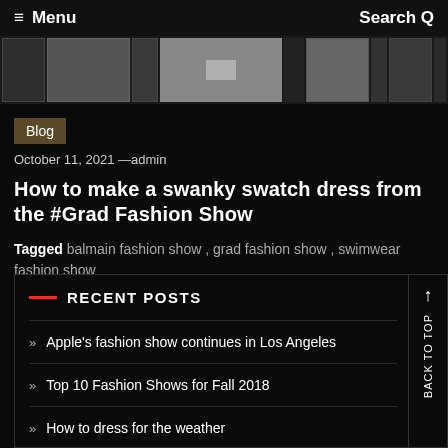≡ Menu    Search Q
[Figure (photo): Black and white horizontal strip of architectural/fashion show venue images]
Blog
October 11, 2021 —admin
How to make a swanky swatch dress from the #Grad Fashion Show
Tagged balmain fashion show , grad fashion show , swimwear fashion show
RECENT POSTS
Apple's fashion show continues in Los Angeles
Top 10 Fashion Shows for Fall 2018
How to dress for the weather